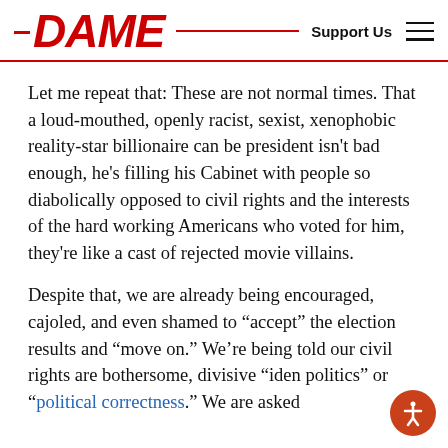DAME  Support Us
Let me repeat that: These are not normal times. That a loud-mouthed, openly racist, sexist, xenophobic reality-star billionaire can be president isn’t bad enough, he’s filling his Cabinet with people so diabolically opposed to civil rights and the interests of the hard working Americans who voted for him, they’re like a cast of rejected movie villains.
Despite that, we are already being encouraged, cajoled, and even shamed to “accept” the election results and “move on.” We’re being told our civil rights are bothersome, divisive “iden politics” or “political correctness.” We are asked